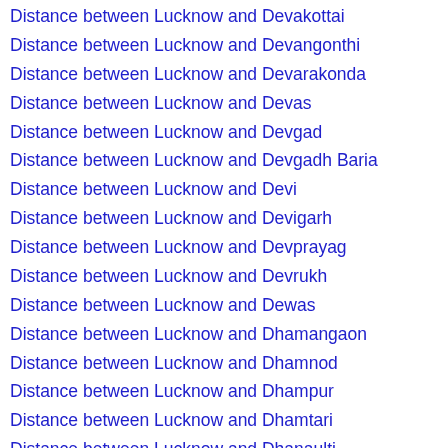Distance between Lucknow and Devakottai
Distance between Lucknow and Devangonthi
Distance between Lucknow and Devarakonda
Distance between Lucknow and Devas
Distance between Lucknow and Devgad
Distance between Lucknow and Devgadh Baria
Distance between Lucknow and Devi
Distance between Lucknow and Devigarh
Distance between Lucknow and Devprayag
Distance between Lucknow and Devrukh
Distance between Lucknow and Dewas
Distance between Lucknow and Dhamangaon
Distance between Lucknow and Dhamnod
Distance between Lucknow and Dhampur
Distance between Lucknow and Dhamtari
Distance between Lucknow and Dhanaulti
Distance between Lucknow and Dhanbad
Distance between Lucknow and Dhandhuka
Distance between Lucknow and Dhankar